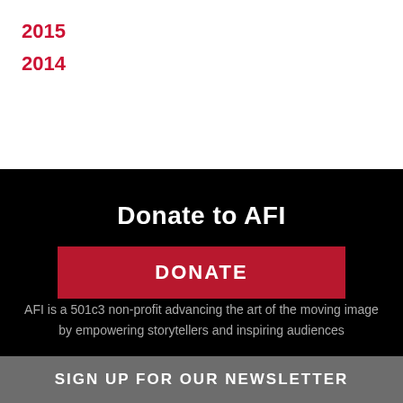2015
2014
Donate to AFI
[Figure (other): Red DONATE button on black background]
AFI is a 501c3 non-profit advancing the art of the moving image by empowering storytellers and inspiring audiences
SIGN UP FOR OUR NEWSLETTER